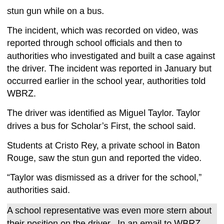stun gun while on a bus.
The incident, which was recorded on video, was reported through school officials and then to authorities who investigated and built a case against the driver. The incident was reported in January but occurred earlier in the school year, authorities told WBRZ.
The driver was identified as Miguel Taylor. Taylor drives a bus for Scholar’s First, the school said.
Students at Cristo Rey, a private school in Baton Rouge, saw the stun gun and reported the video.
“Taylor was dismissed as a driver for the school,” authorities said.
A school representative was even more stern about their position on the driver.  In an email to WBRZ, they said the school "immediately forbid the driver in question from transporting any Cristo Rey students in the future."